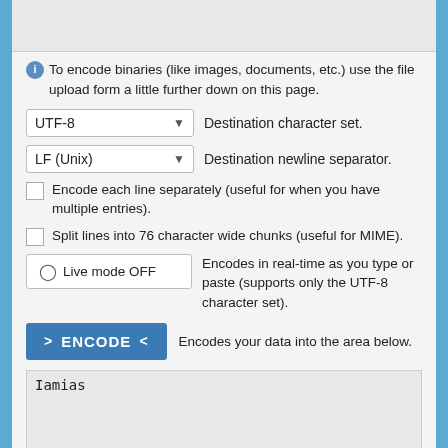[Figure (screenshot): Top textarea input box, partially visible, gray background with resize handle]
To encode binaries (like images, documents, etc.) use the file upload form a little further down on this page.
UTF-8   Destination character set.
LF (Unix)   Destination newline separator.
Encode each line separately (useful for when you have multiple entries).
Split lines into 76 character wide chunks (useful for MIME).
Live mode OFF   Encodes in real-time as you type or paste (supports only the UTF-8 character set).
ENCODE   Encodes your data into the area below.
[Figure (screenshot): Bottom textarea output box showing text 'Iamias']